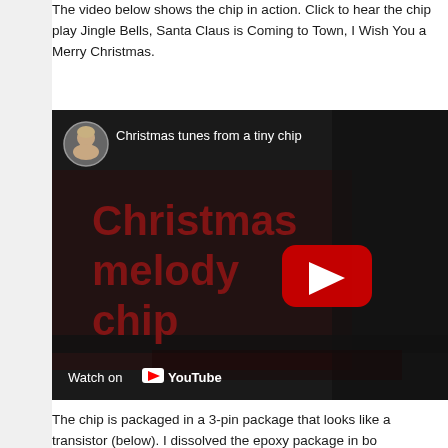The video below shows the chip in action. Click to hear the chip play Jingle Bells, Santa Claus is Coming to Town, I Wish You a Merry Christmas.
[Figure (screenshot): YouTube video embed showing 'Christmas tunes from a tiny chip' with a dark thumbnail overlaid with dark red text 'Christmas melody chip', a red YouTube play button, and a 'Watch on YouTube' label at the bottom. The video header shows a circular avatar of a man and the video title in white text.]
The chip is packaged in a 3-pin package that looks like a transistor (below). I dissolved the epoxy package in bo